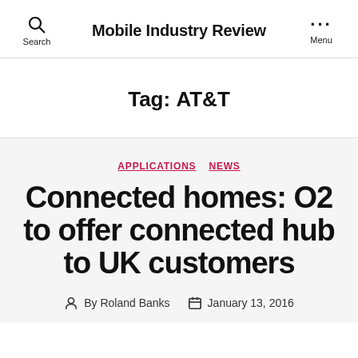Mobile Industry Review
Tag: AT&T
APPLICATIONS NEWS
Connected homes: O2 to offer connected hub to UK customers
By Roland Banks  January 13, 2016